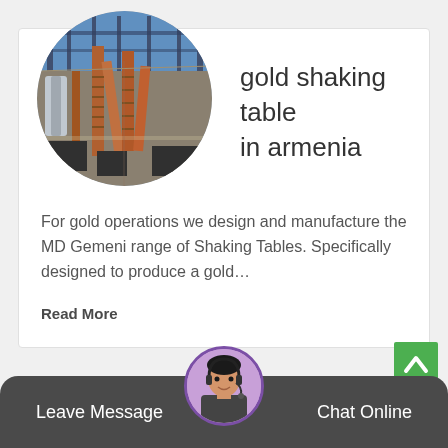[Figure (photo): Circular photo of an industrial factory interior with machinery, metal staircases, and overhead blue-lit structure — shaking table manufacturing facility]
gold shaking table in armenia
For gold operations we design and manufacture the MD Gemeni range of Shaking Tables. Specifically designed to produce a gold…
Read More
[Figure (photo): Green back-to-top button with upward caret arrow]
Leave Message    Chat Online